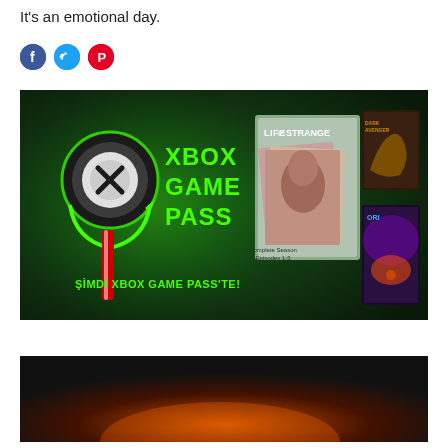It's an emotional day.
[Figure (illustration): Social media share icons: Facebook (blue circle with f), Twitter (blue circle with bird), Pinterest (red circle with P)]
[Figure (screenshot): Xbox Game Pass promotional banner on dark green background. Left side shows Xbox logo (circle with X) and text 'XBOX GAME PASS'. Bottom left shows 'ŞİMDİ XBOX GAME PASS'TE!'. Right side shows game covers: Life is Strange (Complete Season Episodes 1-5), a dragon game cover, and Ori game cover.]
[Figure (screenshot): Partial image with dark background, orange/fire tones at the bottom of the page, cropped.]